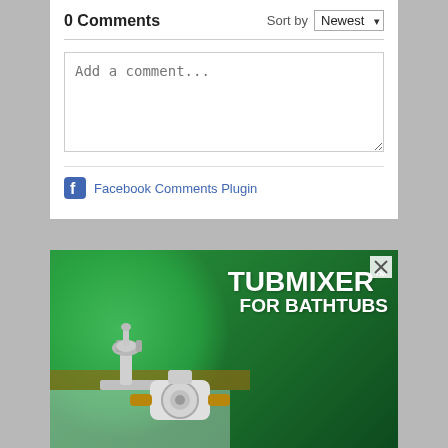0 Comments
Sort by Newest
Add a comment...
Facebook Comments Plugin
[Figure (illustration): Advertisement for TUBMIXER FOR BATHTUBS product, showing a green circular design with bathroom faucet and plumbing valve/mixer device. White bold text reads TUBMIXER™ FOR BATHTUBS on a dark green background.]